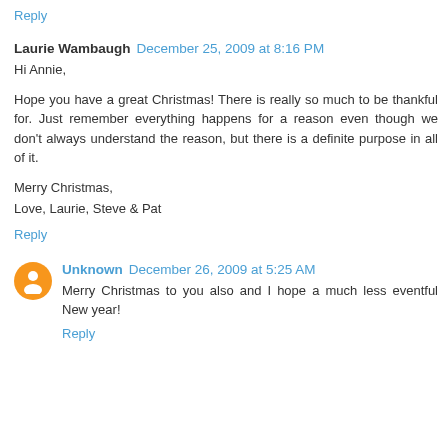Reply
Laurie Wambaugh  December 25, 2009 at 8:16 PM
Hi Annie,

Hope you have a great Christmas! There is really so much to be thankful for. Just remember everything happens for a reason even though we don't always understand the reason, but there is a definite purpose in all of it.

Merry Christmas,
Love, Laurie, Steve & Pat
Reply
Unknown  December 26, 2009 at 5:25 AM
Merry Christmas to you also and I hope a much less eventful New year!
Reply